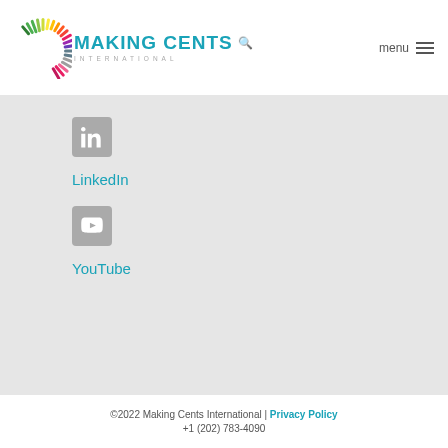Making Cents International — menu
[Figure (logo): Making Cents International logo with colorful sunburst and teal text]
LinkedIn
YouTube
©2022 Making Cents International | Privacy Policy
+1 (202) 783-4090